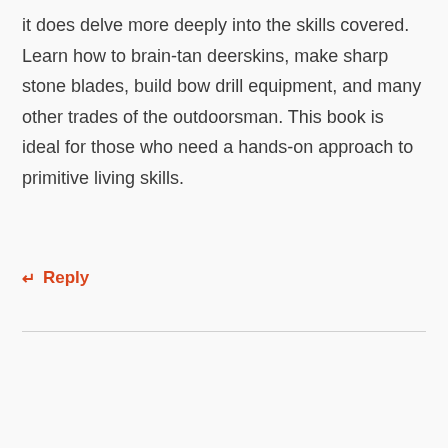it does delve more deeply into the skills covered. Learn how to brain-tan deerskins, make sharp stone blades, build bow drill equipment, and many other trades of the outdoorsman. This book is ideal for those who need a hands-on approach to primitive living skills.
Reply